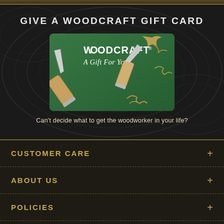GIVE A WOODCRAFT GIFT CARD
[Figure (illustration): Woodcraft gift card featuring two woodworking chisels with wooden handles on a green background, with wood shavings, text reads 'WOODCRAFT A Gift For You']
Can't decide what to get the woodworker in your life?
CUSTOMER CARE
ABOUT US
POLICIES